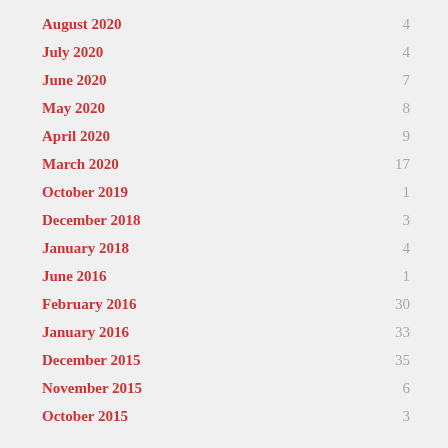August 2020 ... 4
July 2020 ... 4
June 2020 ... 7
May 2020 ... 8
April 2020 ... 9
March 2020 ... 17
October 2019 ... 1
December 2018 ... 3
January 2018 ... 4
June 2016 ... 1
February 2016 ... 30
January 2016 ... 33
December 2015 ... 35
November 2015 ... 6
October 2015 ... 3